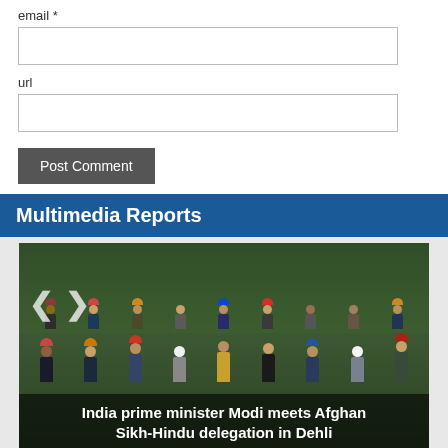email *
url
Post Comment
Multimedia Reports
[Figure (photo): Group photo of India prime minister Modi with Afghan Sikh-Hindu delegation in Dehli, showing a large group of people including men wearing colorful turbans, standing outdoors in a garden setting.]
India prime minister Modi meets Afghan Sikh-Hindu delegation in Dehli